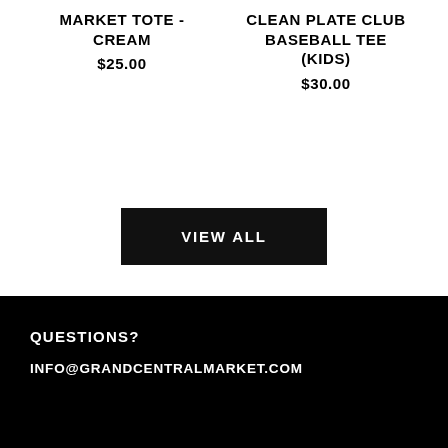MARKET TOTE - CREAM
$25.00
CLEAN PLATE CLUB BASEBALL TEE (KIDS)
$30.00
VIEW ALL
QUESTIONS?
INFO@GRANDCENTRALMARKET.COM